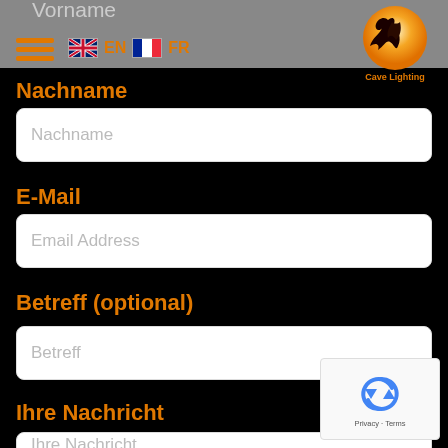Vorname
EN  FR
[Figure (logo): Cave Lighting logo with dragon silhouette on orange sun circle]
Nachname
Nachname (input placeholder)
E-Mail
Email Address (input placeholder)
Betreff (optional)
Betreff (input placeholder)
Ihre Nachricht
Ihre Nachricht (input placeholder)
[Figure (other): reCAPTCHA widget showing refresh icon and Privacy/Terms text]